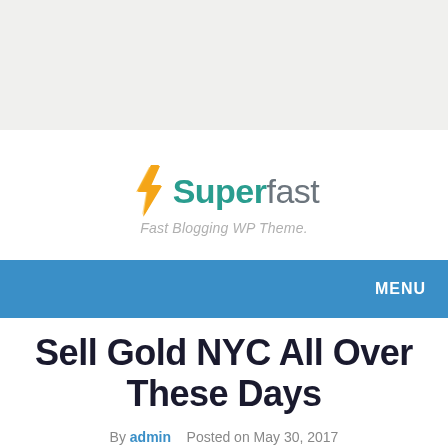[Figure (logo): Superfast WordPress theme logo with orange lightning bolt and teal/gray wordmark, tagline 'Fast Blogging WP Theme.']
MENU
Sell Gold NYC All Over These Days
By admin   Posted on May 30, 2017